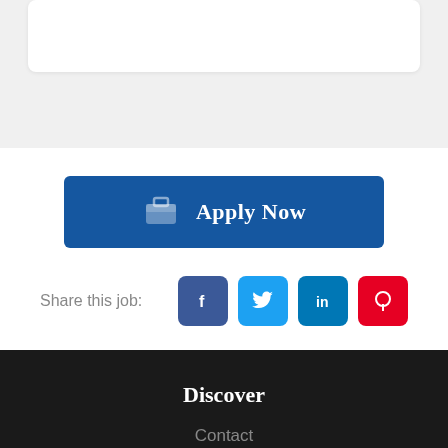[Figure (screenshot): Top portion of a white card element on a light gray background, partially visible at the top of the page.]
Apply Now
Share this job:
Discover
Contact
About Us